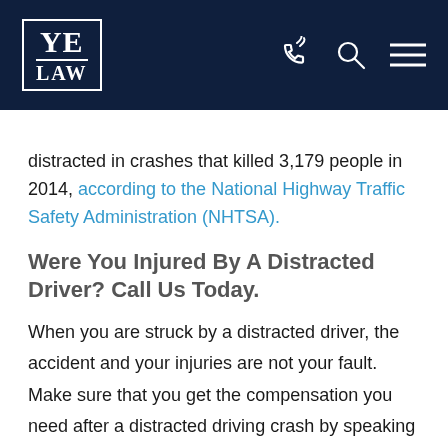YE LAW
distracted in crashes that killed 3,179 people in 2014, according to the National Highway Traffic Safety Administration (NHTSA).
Were You Injured By A Distracted Driver? Call Us Today.
When you are struck by a distracted driver, the accident and your injuries are not your fault. Make sure that you get the compensation you need after a distracted driving crash by speaking with an